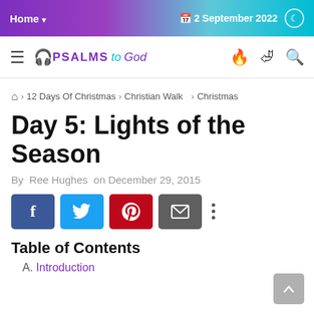Home  ▾   📅 2 September 2022   🌙
≡  🎧PSALMS to God  🔥 ⋈ 🔍
🏠 > 12 Days Of Christmas > Christian Walk > Christmas
Day 5: Lights of the Season
By  Ree Hughes  on December 29, 2015
[Figure (infographic): Social share buttons: Facebook (blue), Twitter (light blue), Pinterest (red), Email (gray), More (three dots)]
Table of Contents
A. Introduction